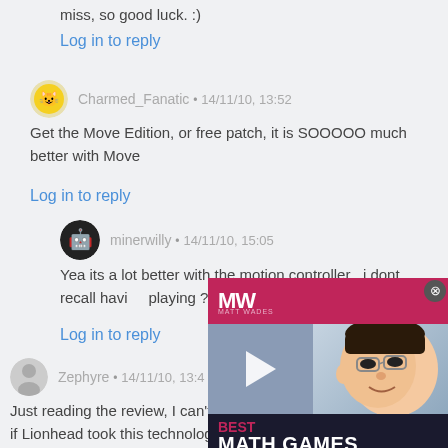miss, so good luck. :)
Log in to reply
Charmed_Fanatic · 14/11/10, 13:52
Get the Move Edition, or free patch, it is SOOOOO much better with Move
Log in to reply
minerwilly · 14/11/10, 15:05
Yea its a lot better with the motion controller , i dont recall having playing ?
Log in to reply
Zephyre · 14/11/10, 13:4
Just reading the review, I can't help think how cool it would be if Lionhead took this technology and make Black and White 3. It almost seems made for it.
[Figure (screenshot): Advertisement overlay showing MW (Matt Wades) logo and 'BEST MATH GAMES' text with a cartoon face]